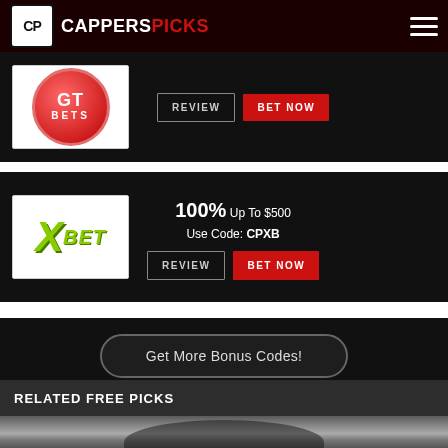CAPPERS PICKS
[Figure (logo): GT BETS circular logo in red]
REVIEW   BET NOW
[Figure (logo): XBET logo with green metallic X]
100% Up To $500 Use Code: CPXB
REVIEW   BET NOW
Get More Bonus Codes!
RELATED FREE PICKS
[Figure (photo): Sports photo showing athlete in crowd]
SPORTSBOOK BONUS CODES